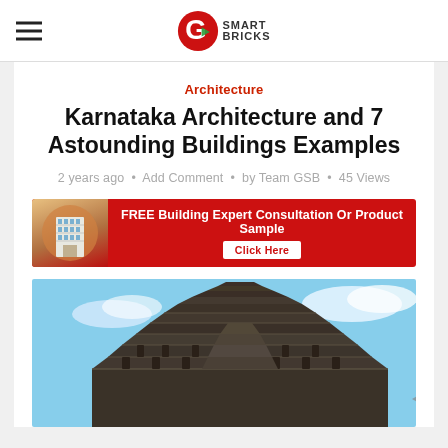Go Smart Bricks
Architecture
Karnataka Architecture and 7 Astounding Buildings Examples
2 years ago • Add Comment • by Team GSB • 45 Views
[Figure (infographic): Red advertisement banner reading: FREE Building Expert Consultation Or Product Sample, Click Here, with building image on left]
[Figure (photo): Upward view of elaborate stone temple tower (gopuram) with intricate carvings, photographed against a cloudy blue sky, Karnataka architecture]